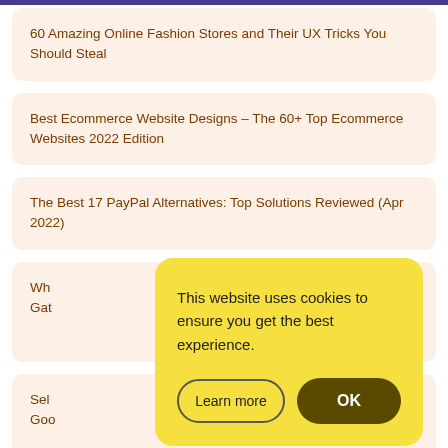60 Amazing Online Fashion Stores and Their UX Tricks You Should Steal
Best Ecommerce Website Designs – The 60+ Top Ecommerce Websites 2022 Edition
The Best 17 PayPal Alternatives: Top Solutions Reviewed (Apr 2022)
Wh... Gat...
Sel... Goo...
How to Choose the Best Ecommerce Platform for SEO (Apr
This website uses cookies to ensure you get the best experience.
Learn more
OK